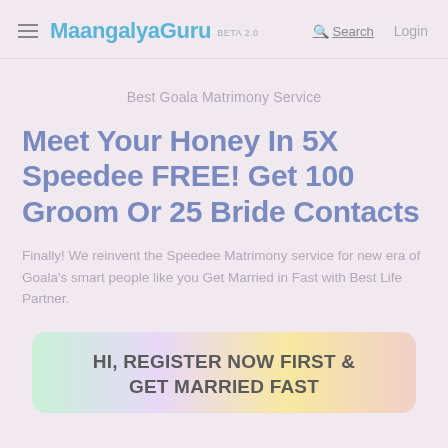MaangalyaGuru BETA 2.0  Search  Login
Best Goala Matrimony Service
Meet Your Honey In 5X Speedee FREE! Get 100 Groom Or 25 Bride Contacts
Finally! We reinvent the Speedee Matrimony service for new era of Goala's smart people like you Get Married in Fast with Best Life Partner.
HI, REGISTER NOW FIRST & GET MARRIED FAST